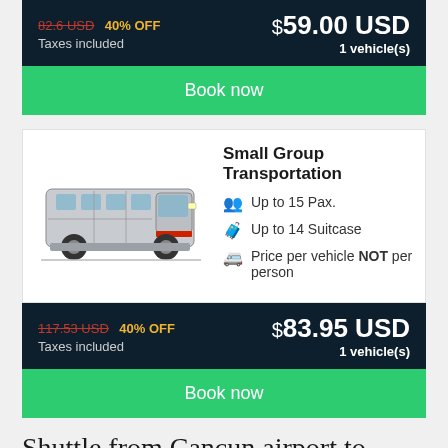82.6 USD 40% OFF $59.00 USD Taxes included 1 vehicle(s)
Book now
[Figure (photo): Silver passenger van / minibus facing right]
Small Group Transportation
Up to 15 Pax.
Up to 14 Suitcase
Price per vehicle NOT per person
117.53 USD 40% OFF $83.95 USD Taxes included 1 vehicle(s)
Book now
Shuttle from Cancun airport to Mezcal